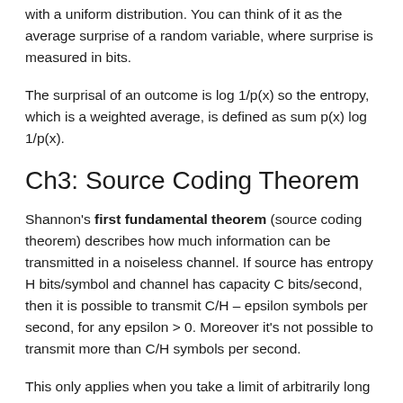with a uniform distribution. You can think of it as the average surprise of a random variable, where surprise is measured in bits.
The surprisal of an outcome is log 1/p(x) so the entropy, which is a weighted average, is defined as sum p(x) log 1/p(x).
Ch3: Source Coding Theorem
Shannon's first fundamental theorem (source coding theorem) describes how much information can be transmitted in a noiseless channel. If source has entropy H bits/symbol and channel has capacity C bits/second, then it is possible to transmit C/H – epsilon symbols per second, for any epsilon > 0. Moreover it's not possible to transmit more than C/H symbols per second.
This only applies when you take a limit of arbitrarily long messages. Intuitively, if the source entropy is H bits/symbol, then you can construct a codebook of 2^H entries and each